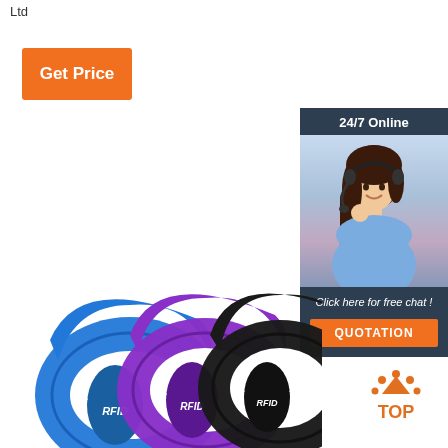Ltd
Get Price
[Figure (photo): Customer service representative woman with headset smiling, with '24/7 Online' header, 'Click here for free chat!' text, and orange QUOTATION button]
[Figure (photo): Three RFID silicone wristbands in blue, purple, and black colors with RFID logo printed on them]
[Figure (logo): Orange TOP badge/logo with arrow pointing up and dots]